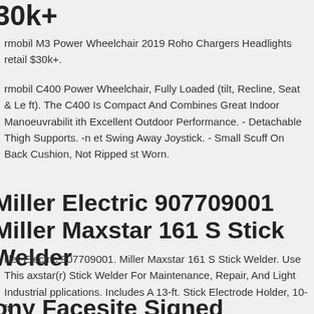30k+
rmobil M3 Power Wheelchair 2019 Roho Chargers Headlights retail $30k+.
rmobil C400 Power Wheelchair, Fully Loaded (tilt, Recline, Seat & Le ft). The C400 Is Compact And Combines Great Indoor Manoeuvrability ith Excellent Outdoor Performance. - Detachable Thigh Supports. -n et Swing Away Joystick. - Small Scuff On Back Cushion, Not Ripped st Worn.
Miller Electric 907709001 Miller Maxstar 161 S Stick Welder
iller Electric 907709001. Miller Maxstar 161 S Stick Welder. Use This axstar(r) Stick Welder For Maintenance, Repair, And Light Industrial pplications. Includes A 13-ft. Stick Electrode Holder, 10-ft.
ony Facesite Signed Northland Stic